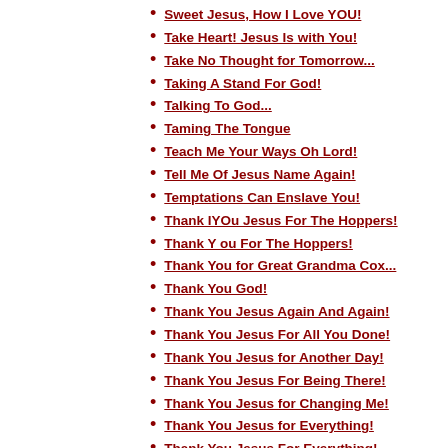Sweet Jesus, How I Love YOU!
Take Heart! Jesus Is with You!
Take No Thought for Tomorrow...
Taking A Stand For God!
Talking To God...
Taming The Tongue
Teach Me Your Ways Oh Lord!
Tell Me Of Jesus Name Again!
Temptations Can Enslave You!
Thank IYOu Jesus For The Hoppers!
Thank Y ou For The Hoppers!
Thank You for Great Grandma Cox...
Thank You God!
Thank You Jesus Again And Again!
Thank You Jesus For All You Done!
Thank You Jesus for Another Day!
Thank You Jesus For Being There!
Thank You Jesus for Changing Me!
Thank You Jesus for Everything!
Thank You Jesus For Everything!
Thank You Jesus for Loving Me!
Thank You Jesus!
Thank You Jesus!
Thank You Jesus!
Thank YOU Jesus!
Thank You Jesus!
Thank You Jesus!
Thank You Jesus! I Am Free!
Thank You Lord For C.J.
Thank You Lord for Dennis...